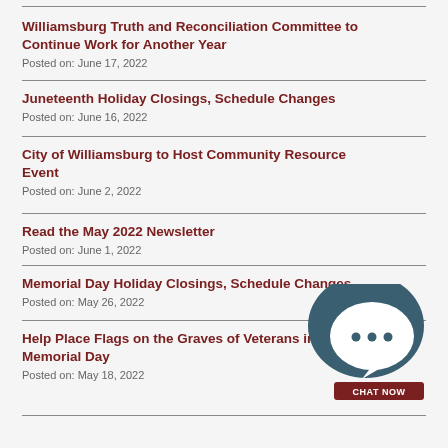Williamsburg Truth and Reconciliation Committee to Continue Work for Another Year
Posted on: June 17, 2022
Juneteenth Holiday Closings, Schedule Changes
Posted on: June 16, 2022
City of Williamsburg to Host Community Resource Event
Posted on: June 2, 2022
Read the May 2022 Newsletter
Posted on: June 1, 2022
Memorial Day Holiday Closings, Schedule Changes
Posted on: May 26, 2022
Help Place Flags on the Graves of Veterans in Honor of Memorial Day
Posted on: May 18, 2022
[Figure (illustration): Chat Now widget — dark teal speech bubble with three dots and a white inner bubble, with a dark red CHAT NOW button below]